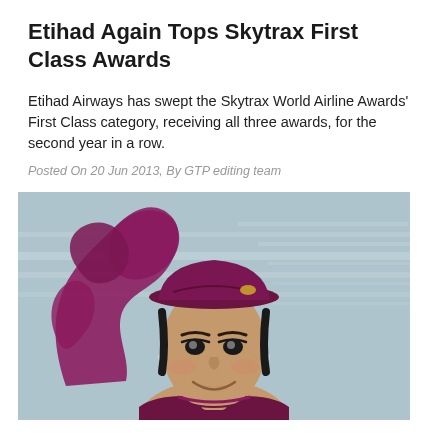Etihad Again Tops Skytrax First Class Awards
Etihad Airways has swept the Skytrax World Airline Awards' First Class category, receiving all three awards, for the second year in a row.
Posted On 20 Jun 2013, By GTP editing team
[Figure (photo): A smiling airline flight attendant wearing a dark maroon/burgundy hat and uniform, with a large maroon oryx logo visible in the background against a light blue-grey background (likely an aircraft exterior).]